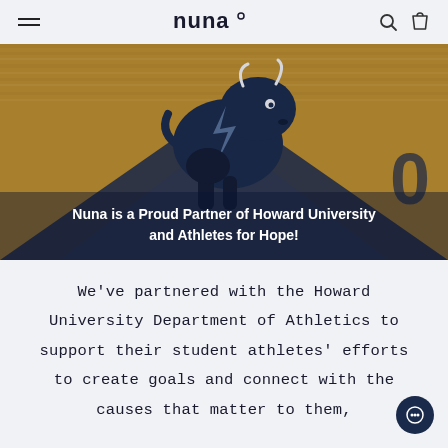nuna (logo) | hamburger menu | search icon | cart icon
[Figure (photo): Howard University Bison mascot logo on a basketball court floor with navy and gold colors. Overlay text: 'Nuna is a Proud Partner of Howard University and Athletes for Hope!']
We've partnered with the Howard University Department of Athletics to support their student athletes' efforts to create goals and connect with the causes that matter to them,